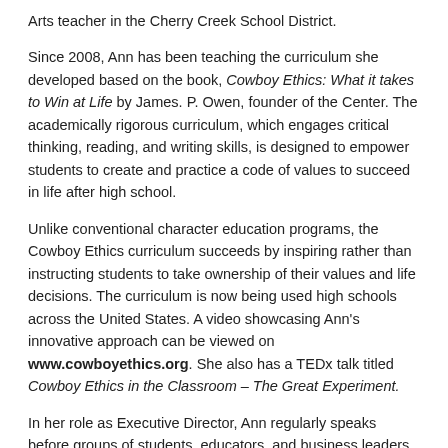Arts teacher in the Cherry Creek School District.
Since 2008, Ann has been teaching the curriculum she developed based on the book, Cowboy Ethics: What it takes to Win at Life by James. P. Owen, founder of the Center. The academically rigorous curriculum, which engages critical thinking, reading, and writing skills, is designed to empower students to create and practice a code of values to succeed in life after high school.
Unlike conventional character education programs, the Cowboy Ethics curriculum succeeds by inspiring rather than instructing students to take ownership of their values and life decisions. The curriculum is now being used high schools across the United States. A video showcasing Ann's innovative approach can be viewed on www.cowboyethics.org. She also has a TEDx talk titled Cowboy Ethics in the Classroom – The Great Experiment.
In her role as Executive Director, Ann regularly speaks before groups of students, educators, and business leaders across the country through the program she developed called Be Somebody! The Best of Cowboy Ethics and The Try.
Prior to her teaching career, Ann worked for Whirlpool Corporation in Benton Harbor, Michigan and has co-owned and founded two small businesses. She